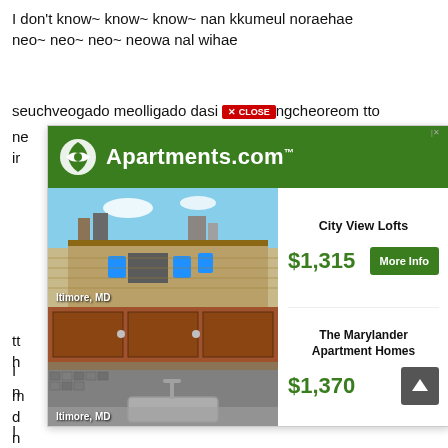I don't know~ know~ know~ nan kkumeul noraehae neo~ neo~ neo~ neowa nal wihae
seuchveogado meolligado dasi [CLOSE] ngcheoreom tto ne... ir...
[Figure (screenshot): Apartments.com advertisement overlay showing two apartment listings: City View Lofts at $1,315 with More Info button, and The Marylander Apartment Homes at $1,370 with scroll-up button. Photos show rooftop terrace in Baltimore MD and kitchen interior in Baltimore MD.]
lt... h...
I n... e...
m... d... n...
I n...
I